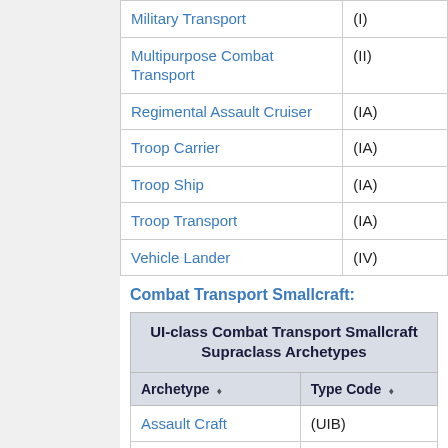| Archetype | Type Code |
| --- | --- |
| Military Transport | (I) |
| Multipurpose Combat Transport | (II) |
| Regimental Assault Cruiser | (IA) |
| Troop Carrier | (IA) |
| Troop Ship | (IA) |
| Troop Transport | (IA) |
| Vehicle Lander | (IV) |
Combat Transport Smallcraft:
| Archetype | Type Code |
| --- | --- |
| Assault Craft | (UIB) |
| Assault Cutter | (UI) |
| Assault Lander | (UII) |